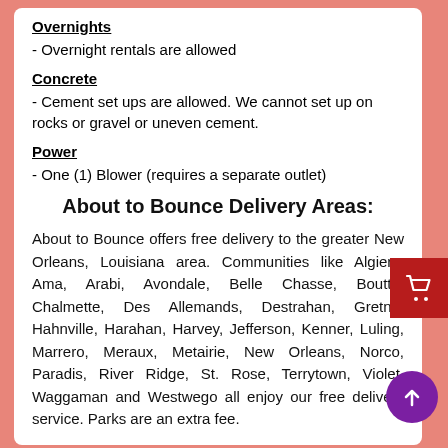Overnights
- Overnight rentals are allowed
Concrete
- Cement set ups are allowed. We cannot set up on rocks or gravel or uneven cement.
Power
- One (1) Blower (requires a separate outlet)
About to Bounce Delivery Areas:
About to Bounce offers free delivery to the greater New Orleans, Louisiana area. Communities like Algiers, Ama, Arabi, Avondale, Belle Chasse, Boutte, Chalmette, Des Allemands, Destrahan, Gretna, Hahnville, Harahan, Harvey, Jefferson, Kenner, Luling, Marrero, Meraux, Metairie, New Orleans, Norco, Paradis, River Ridge, St. Rose, Terrytown, Violet, Waggaman and Westwego all enjoy our free delivery service. Parks are an extra fee.